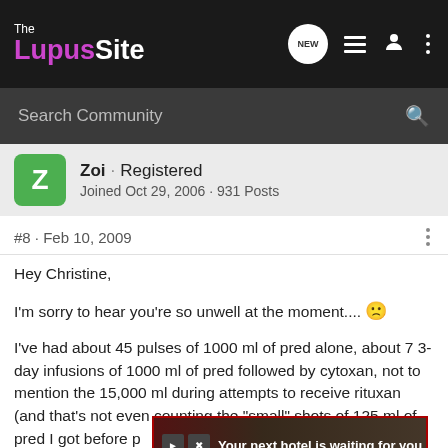The Lupus Site
Search Community
Zoi · Registered
Joined Oct 29, 2006 · 931 Posts
#8 · Feb 10, 2009
Hey Christine,

I'm sorry to hear you're so unwell at the moment.... 🙁

I've had about 45 pulses of 1000 ml of pred alone, about 7 3-day infusions of 1000 ml of pred followed by cytoxan, not to mention the 15,000 ml during attempts to receive rituxan (and that's not even counting the "small" shots of 125 ml of pred I got before p... etc etc). IV ... that
[Figure (screenshot): Advertisement overlay: 'Your next hotel is waiting for you' with hotel image background, red/dark background, with navigation controls]